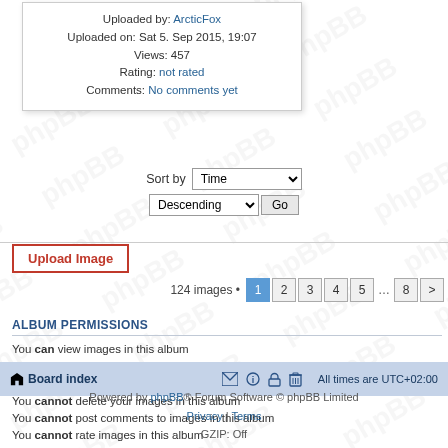Uploaded by: ArcticFox
Uploaded on: Sat 5. Sep 2015, 19:07
Views: 457
Rating: not rated
Comments: No comments yet
Sort by Time Descending Go
Upload Image
124 images • 1 2 3 4 5 ... 8 >
ALBUM PERMISSIONS
You can view images in this album
You cannot upload new images in this album
You cannot edit your images in this album
You cannot delete your images in this album
You cannot post comments to images in this album
You cannot rate images in this album
Board index  All times are UTC+02:00
Powered by phpBB® Forum Software © phpBB Limited
Privacy | Terms
GZIP: Off